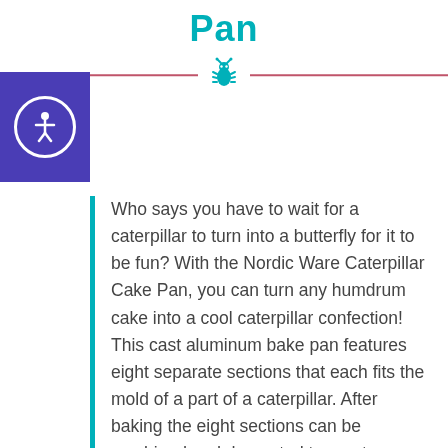Pan
[Figure (illustration): Decorative divider with a teal bug/caterpillar icon centered on a pink/red horizontal line]
[Figure (logo): Accessibility icon — white figure in circle on purple/indigo square background]
Who says you have to wait for a caterpillar to turn into a butterfly for it to be fun? With the Nordic Ware Caterpillar Cake Pan, you can turn any humdrum cake into a cool caterpillar confection! This cast aluminum bake pan features eight separate sections that each fits the mold of a part of a caterpillar. After baking the eight sections can be combined and decorated to create one marvelous, happy caterpillar. Each section is perfectly portioned for singular or shared eating! The aluminum pan promotes even cooking and is non-stick to allow for easy release and cleaning. The total